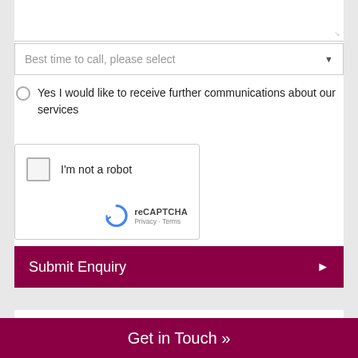Best time to call, please select
Yes I would like to receive further communications about our services
[Figure (other): reCAPTCHA widget with checkbox 'I'm not a robot', reCAPTCHA logo, Privacy and Terms links]
Submit Enquiry
Get in Touch »